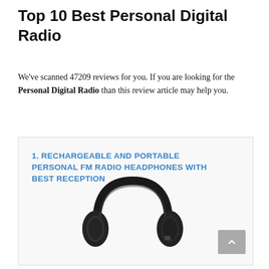Top 10 Best Personal Digital Radio
We've scanned 47209 reviews for you. If you are looking for the Personal Digital Radio than this review article may help you.
1. RECHARGEABLE AND PORTABLE PERSONAL FM RADIO HEADPHONES WITH BEST RECEPTION
[Figure (photo): Black over-ear headphones with FM radio, shown at an angle against a white background]